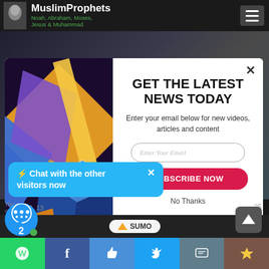MuslimProphets — Noah, Abraham, Moses, Jesus & Muhammad
[Figure (screenshot): Colorful geometric abstract image on the left side of the modal popup]
GET THE LATEST NEWS TODAY
Enter your email below for new videos, articles and content
Enter Your Email
SUBSCRIBE NOW
No Thanks
⚡ Chat with the other visitors now
[Figure (logo): SUMO logo badge at bottom center]
Social share icons: WhatsApp, Facebook, Like, Twitter, SMS, other